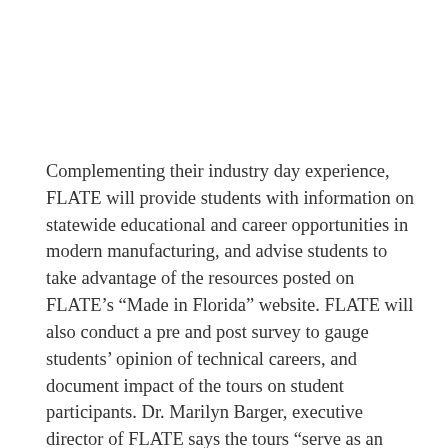Complementing their industry day experience, FLATE will provide students with information on statewide educational and career opportunities in modern manufacturing, and advise students to take advantage of the resources posted on FLATE’s “Made in Florida” website. FLATE will also conduct a pre and post survey to gauge students’ opinion of technical careers, and document impact of the tours on student participants. Dr. Marilyn Barger, executive director of FLATE says the tours “serve as an effective mechanism to expose students to the real world of manufacturing and get students excited about career opportunities